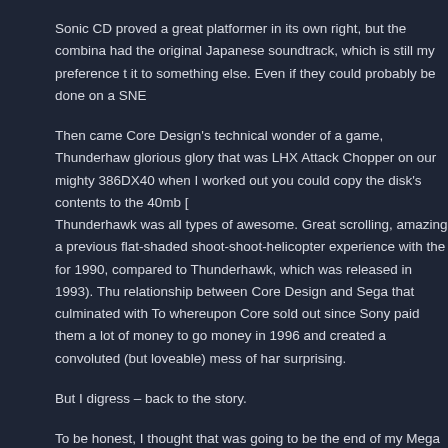Sonic CD proved a great platformer in its own right, but the combina had the original Japanese soundtrack, which is still my preference t it to something else. Even if they could probably be done on a SNE
Then came Core Design's technical wonder of a game, Thunderhaw glorious glory that was LHX Attack Chopper on our mighty 386DX40 when I worked out you could copy the disk's contents to the 40mb [ Thunderhawk was all types of awesome. Great scrolling, amazing a previous flat-shaded shoot-shoot-helicopter experience with the for 1990, compared to Thunderhawk, which was released in 1993). Thu relationship between Core Design and Sega that culminated with To whereupon Core sold out since Sony paid them a lot of money to go money in 1996 and created a convoluted (but loveable) mess of har surprising.
But I digress – back to the story.
To be honest, I thought that was going to be the end of my Mega CD expensive, so there wasn't much possibility of being able to pick one on birthdays or Christmas. Fast-forward a little over 12 months thou of the Saturn and Playstation in 1995, the upcoming Nintendo 64 (th